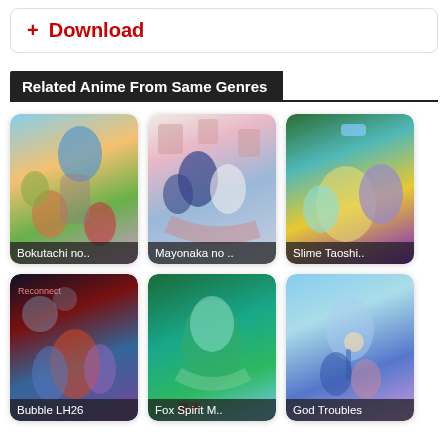+ Download
Related Anime From Same Genres
[Figure (screenshot): Anime card grid showing 6 anime thumbnails: Bokutachi no.., Mayonaka no.., Slime Taoshi.., Bubble LH26, Fox Spirit M.., God Troubles]
Bokutachi no..
Mayonaka no ..
Slime Taoshi..
Bubble LH26
Fox Spirit M..
God Troubles